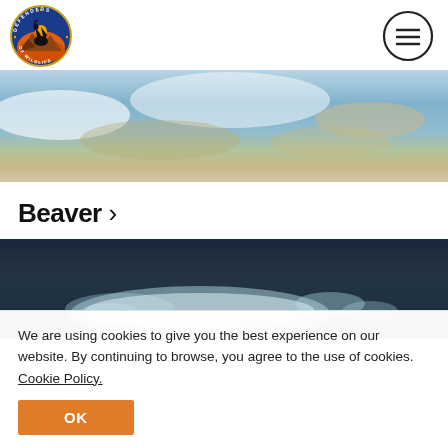Defenders of Wildlife logo and menu icon
[Figure (photo): Aerial or water-surface photo showing blue water with white cloud reflections and sandy/earthy patches]
Beaver >
[Figure (photo): Underwater or dark water photo showing a white/pale beluga whale or similar marine animal against dark water with light reflections]
We are using cookies to give you the best experience on our website. By continuing to browse, you agree to the use of cookies. Cookie Policy.